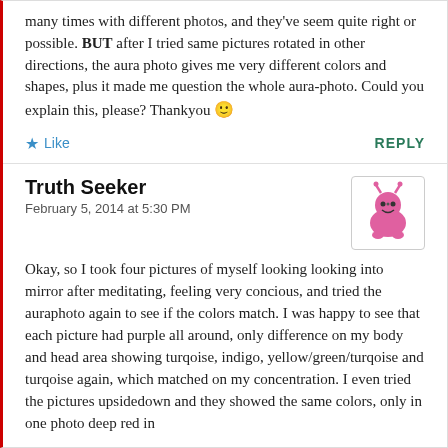many times with different photos, and they've seem quite right or possible. BUT after I tried same pictures rotated in other directions, the aura photo gives me very different colors and shapes, plus it made me question the whole aura-photo. Could you explain this, please? Thankyou 🙂
★ Like    REPLY
Truth Seeker
February 5, 2014 at 5:30 PM
[Figure (illustration): A pink cartoon alien/monster avatar icon with antennae and a round body, inside a white rounded square border]
Okay, so I took four pictures of myself looking looking into mirror after meditating, feeling very concious, and tried the auraphoto again to see if the colors match. I was happy to see that each picture had purple all around, only difference on my body and head area showing turqoise, indigo, yellow/green/turqoise and turqoise again, which matched on my concentration. I even tried the pictures upsidedown and they showed the same colors, only in one photo deep red in